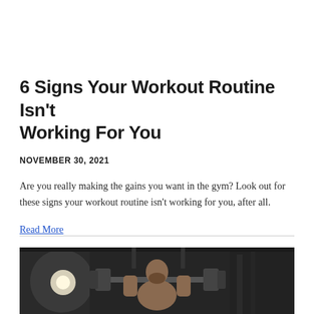6 Signs Your Workout Routine Isn't Working For You
NOVEMBER 30, 2021
Are you really making the gains you want in the gym? Look out for these signs your workout routine isn't working for you, after all.
Read More
[Figure (photo): A man lifting a barbell in a gym, shirtless, with dramatic lighting in a dark gym setting]